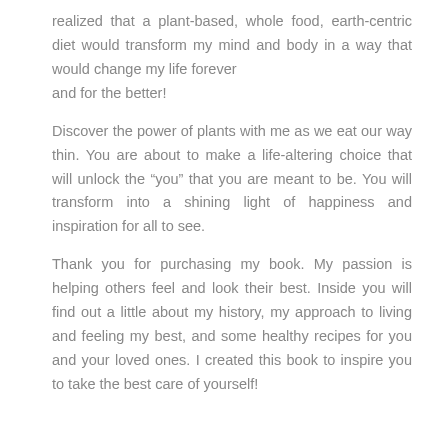realized that a plant-based, whole food, earth-centric diet would transform my mind and body in a way that would change my life forever
and for the better!
Discover the power of plants with me as we eat our way thin. You are about to make a life-altering choice that will unlock the “you” that you are meant to be. You will transform into a shining light of happiness and inspiration for all to see.
Thank you for purchasing my book. My passion is helping others feel and look their best. Inside you will find out a little about my history, my approach to living and feeling my best, and some healthy recipes for you and your loved ones. I created this book to inspire you to take the best care of yourself!